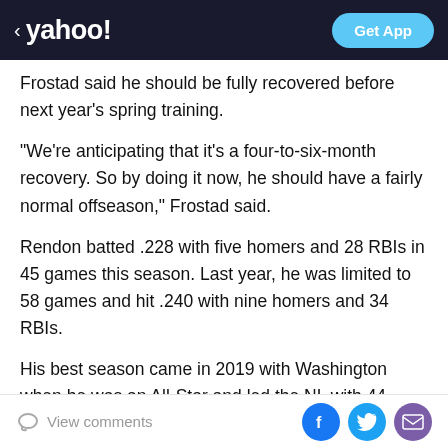< yahoo!  Get App
Frostad said he should be fully recovered before next year's spring training.
“We’re anticipating that it’s a four-to-six-month recovery. So by doing it now, he should have a fairly normal offseason,” Frostad said.
Rendon batted .228 with five homers and 28 RBIs in 45 games this season. Last year, he was limited to 58 games and hit .240 with nine homers and 34 RBIs.
His best season came in 2019 with Washington when he was an All-Star and led the NL with 44 doubles and 126 RBIs while hitting a career-best .319. He homered in Game 6 and Game 7 of the Nationals’ World Series
View comments